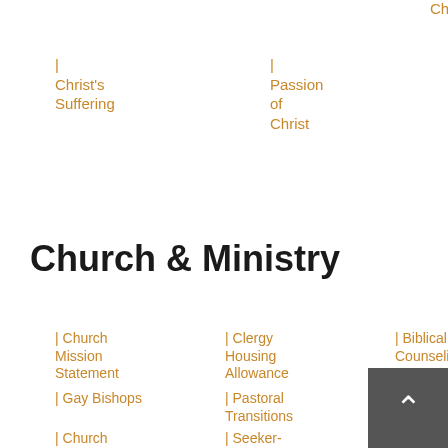| Christ's Suffering
| Passion of Christ
Church & Ministry
| Church Mission Statement
| Clergy Housing Allowance
| Biblical Counseling
| Gay Bishops
| Pastoral Transitions
| Church Planting
| Church Closings
| Seeker-Sensitive
| Church Decline